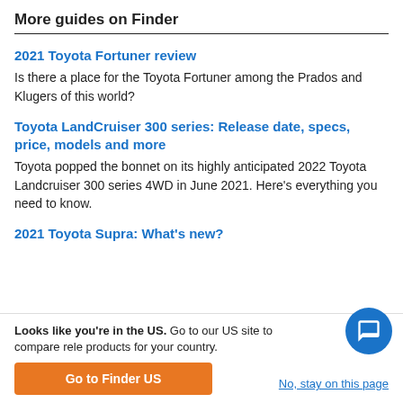More guides on Finder
2021 Toyota Fortuner review
Is there a place for the Toyota Fortuner among the Prados and Klugers of this world?
Toyota LandCruiser 300 series: Release date, specs, price, models and more
Toyota popped the bonnet on its highly anticipated 2022 Toyota Landcruiser 300 series 4WD in June 2021. Here's everything you need to know.
2021 Toyota Supra: What's new?
Looks like you're in the US. Go to our US site to compare rele products for your country.
Go to Finder US
No, stay on this page